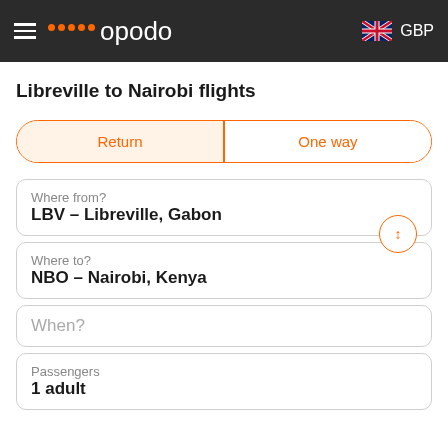opodo GBP
Libreville to Nairobi flights
Return | One way
Where from?
LBV – Libreville, Gabon
Where to?
NBO – Nairobi, Kenya
When?
Passengers
1 adult